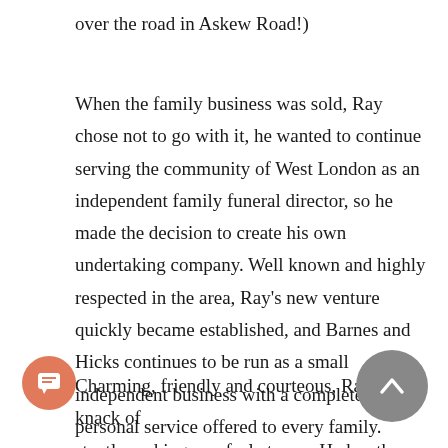over the road in Askew Road!)
When the family business was sold, Ray chose not to go with it, he wanted to continue serving the community of West London as an independent family funeral director, so he made the decision to create his own undertaking company. Well known and highly respected in the area, Ray's new venture quickly became established, and Barnes and Hicks continues to be run as a small independent business with a completely personal service offered to every family.
Charming, friendly and courteous, Ray has a knack of instantly making you feel at ease. He has the confidence of a highly competent, knowledgeable and